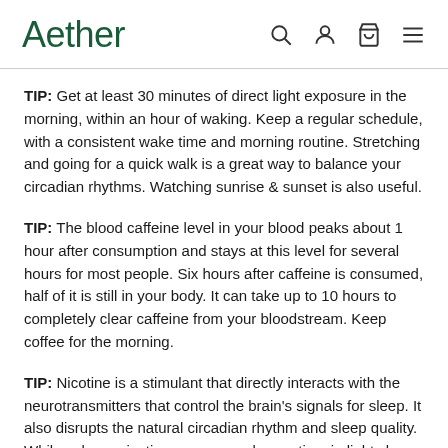Aether
TIP: Get at least 30 minutes of direct light exposure in the morning, within an hour of waking. Keep a regular schedule, with a consistent wake time and morning routine. Stretching and going for a quick walk is a great way to balance your circadian rhythms. Watching sunrise & sunset is also useful.
TIP: The blood caffeine level in your blood peaks about 1 hour after consumption and stays at this level for several hours for most people. Six hours after caffeine is consumed, half of it is still in your body. It can take up to 10 hours to completely clear caffeine from your bloodstream. Keep coffee for the morning.
TIP: Nicotine is a stimulant that directly interacts with the neurotransmitters that control the brain's signals for sleep. It also disrupts the natural circadian rhythm and sleep quality. While asleep, nicotine users spend more time in light sleep states, especially in the early parts of the night when they should be in restorative, slow wave sleep. Two hours after